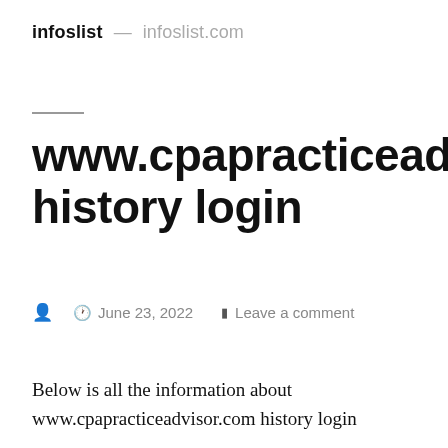infoslist — infoslist.com
www.cpapracticeadvisor.com history login
June 23, 2022  Leave a comment
Below is all the information about www.cpapracticeadvisor.com history login